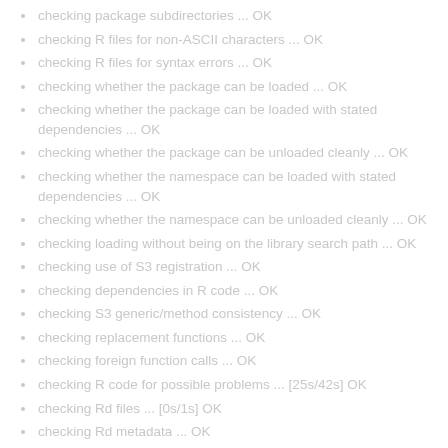checking package subdirectories ... OK
checking R files for non-ASCII characters ... OK
checking R files for syntax errors ... OK
checking whether the package can be loaded ... OK
checking whether the package can be loaded with stated dependencies ... OK
checking whether the package can be unloaded cleanly ... OK
checking whether the namespace can be loaded with stated dependencies ... OK
checking whether the namespace can be unloaded cleanly ... OK
checking loading without being on the library search path ... OK
checking use of S3 registration ... OK
checking dependencies in R code ... OK
checking S3 generic/method consistency ... OK
checking replacement functions ... OK
checking foreign function calls ... OK
checking R code for possible problems ... [25s/42s] OK
checking Rd files ... [0s/1s] OK
checking Rd metadata ... OK
checking Rd line widths ... OK
checking Rd cross-references ... OK
checking for missing documentation entries ... OK